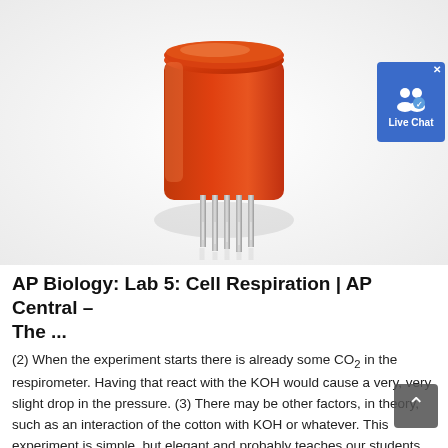[Figure (photo): Photo of an orange/red electronic sensor component (resembles a gas sensor or electronic module) with metal pins extending downward, on a white reflective background.]
AP Biology: Lab 5: Cell Respiration | AP Central – The ...
(2) When the experiment starts there is already some CO2 in the respirometer. Having that react with the KOH would cause a very, very slight drop in the pressure. (3) There may be other factors, in theory, such as an interaction of the cotton with KOH or whatever. This experiment is simple, but elegant and probably teaches our students